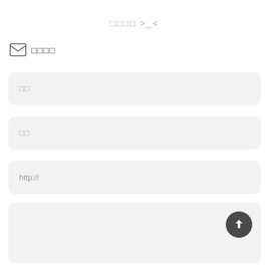□□□□ >_<
□□□□
□□
□□
http://
[Figure (other): Large text input area with upload button (upward arrow in dark circle)]